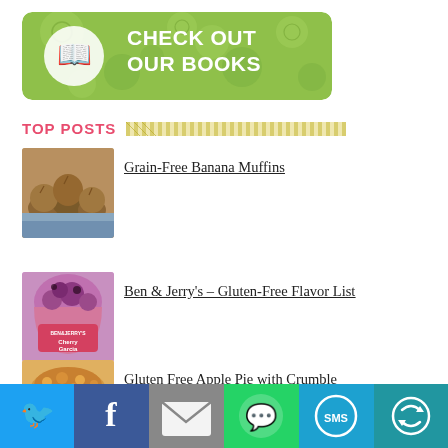[Figure (illustration): Green floral banner with book icon and text CHECK OUT OUR BOOKS]
TOP POSTS
[Figure (photo): Grain-free banana muffins on a tray]
Grain-Free Banana Muffins
[Figure (photo): Ben & Jerry's Cherry Garcia ice cream container]
Ben & Jerry's – Gluten-Free Flavor List
[Figure (photo): Gluten Free Apple Pie with Crumble - partial]
Gluten Free Apple Pie with Crumble
[Figure (infographic): Social share bar with Twitter, Facebook, Email, WhatsApp, SMS, and More buttons]